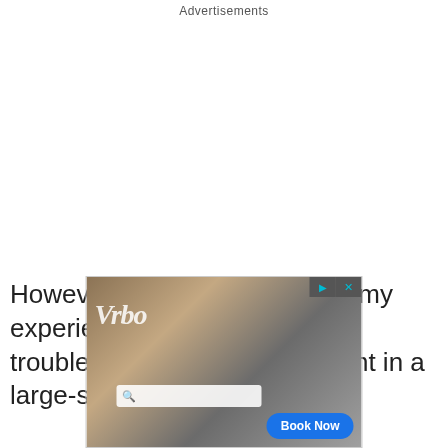Advertisements
However, anyone who shares my experience of having to debug troublesome state management in a large-scale class may be
[Figure (screenshot): Advertisement banner with photo of people loading items into a vehicle, logo text overlay, search bar, and a 'Book Now' button. Has playback and close controls at top right.]